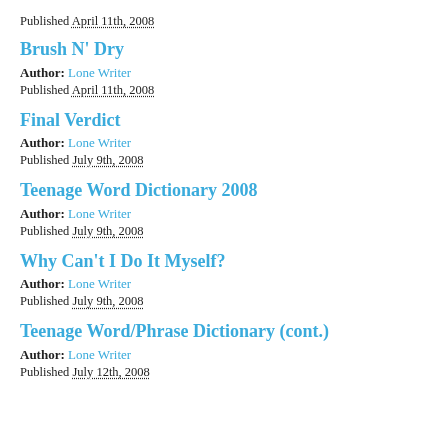Published April 11th, 2008
Brush N' Dry
Author: Lone Writer
Published April 11th, 2008
Final Verdict
Author: Lone Writer
Published July 9th, 2008
Teenage Word Dictionary 2008
Author: Lone Writer
Published July 9th, 2008
Why Can't I Do It Myself?
Author: Lone Writer
Published July 9th, 2008
Teenage Word/Phrase Dictionary (cont.)
Author: Lone Writer
Published July 12th, 2008